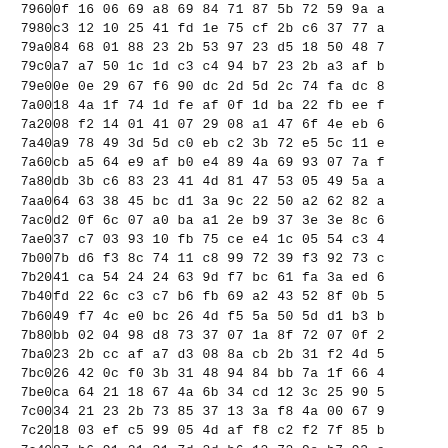| Address | Hex Data |
| --- | --- |
| 7960 | 0f 16 06 69 a8 69 84 71 87 5b 72 59 9a a |
| 7980 | c3 12 10 25 41 fd 1e 75 cf 2b c6 37 77 a |
| 79a0 | 84 68 01 88 23 2b 53 97 23 d5 18 50 48 7 |
| 79c0 | a7 a7 50 1c 1d c3 c4 94 b7 23 2b a3 af b |
| 79e0 | 0e 0e 29 67 f6 90 dc 2d 5d 2c 74 fa dc 8 |
| 7a00 | 18 4a 1f 74 1d fe af 0f 1d ba 22 fb ee f |
| 7a20 | 08 f2 14 01 41 07 29 08 a1 47 6f 4e eb 6 |
| 7a40 | a9 78 49 3d 5d c0 eb c2 3b 72 e5 5c 11 e |
| 7a60 | cb a5 64 e9 af b0 e4 89 4a 69 93 07 7a f |
| 7a80 | db 3b c6 83 23 41 4d 81 47 53 05 49 5a a |
| 7aa0 | 64 63 38 45 bc d1 3a 9c 22 50 a2 62 82 a |
| 7ac0 | d2 0f 6c 07 a0 ba a1 2e b9 37 3e 3e 8c 6 |
| 7ae0 | 37 c7 03 93 10 fb 75 ce e4 1c 05 54 c3 4 |
| 7b00 | 7b d6 f3 8c 74 11 c8 99 72 39 f3 92 73 c |
| 7b20 | 41 ca 54 24 24 63 9d f7 bc 61 fa 3a ed 6 |
| 7b40 | fd 22 6c c3 c7 b6 fb 69 a2 43 52 8f 0b 5 |
| 7b60 | 49 f7 4c e0 bc 26 4d f5 5a 50 5d d1 b3 b |
| 7b80 | bb 02 04 98 d8 73 37 07 1a 8f 72 07 0f 2 |
| 7ba0 | 23 2b cc af a7 d3 08 8a cb 2b 31 f2 4d 5 |
| 7bc0 | 26 42 0c f0 3b 31 48 94 84 bb 7a 1f 66 4 |
| 7be0 | ca 64 21 18 67 4a 6b 34 cd 12 3c 25 90 5 |
| 7c00 | 34 21 23 2b 73 85 37 13 3a f8 4a 00 67 9 |
| 7c20 | 18 03 ef c5 99 05 4d af f8 c2 f2 7f 85 b |
| 7c40 | 87 b6 91 21 31 7d 2d b6 12 72 9e b7 93 e |
| 7c60 | e2 6e 33 e9 8b 85 ae 9d 6d 02 e3 45 95 1 |
| 7c80 | fd 8a b5 d7 02 eb f3 67 dc f9 bd f8 16 b |
| 7ca0 | 3c 29 78 3a 68 0b bc fa e2 23 47 dd 99 d |
| 7cc0 | 8f 93 76 dc 7e 67 68 70 94 6d 04 79 a4 a |
| 7ce0 | 42 23 2b 0e 89 be 6d 41 c4 58 a3 71 87 2 |
| 7d00 | 3a d1 d3 e6 67 11 10 15 cb b5 23 2a 34  |